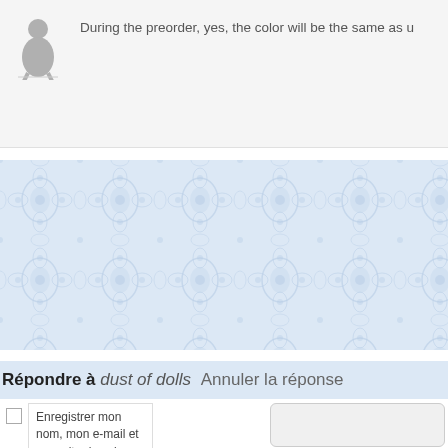During the preorder, yes, the color will be the same as u
[Figure (illustration): Decorative floral/damask pattern banner in light blue]
Répondre à dust of dolls Annuler la réponse
Enregistrer mon nom, mon e-mail et mon site dans le navigateur pour mon prochain commentaire.